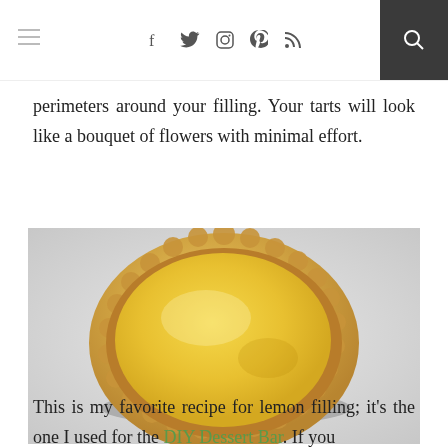≡  f  𝕏  📷  𝓟  )))  🔍
perimeters around your filling. Your tarts will look like a bouquet of flowers with minimal effort.
[Figure (photo): A single round lemon tart with a fluted pastry crust, filled with bright yellow lemon curd, photographed from above on a light surface dusted with powdered sugar.]
This is my favorite recipe for lemon filling; it's the one I used for the DIY Dessert Bar. If you